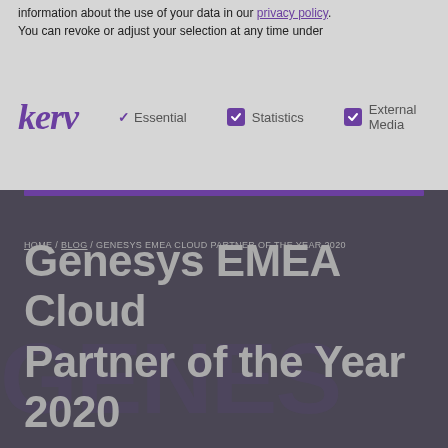information about the use of your data in our privacy policy. You can revoke or adjust your selection at any time under
[Figure (screenshot): Website navigation bar with Kerv logo, checkboxes for Essential, Statistics, External Media, search icon and hamburger menu icon]
HOME / BLOG / GENESYS EMEA CLOUD PARTNER OF THE YEAR 2020
Genesys EMEA Cloud Partner of the Year 2020